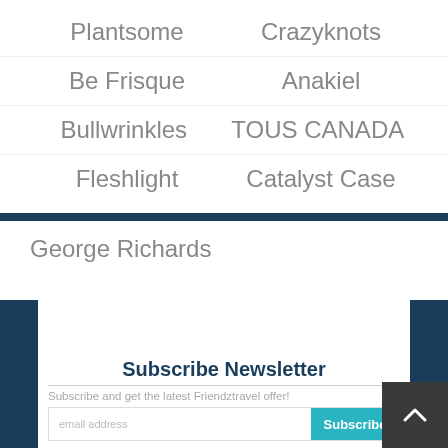Plantsome
Crazyknots
Be Frisque
Anakiel
Bullwrinkles
TOUS CANADA
Fleshlight
Catalyst Case
George Richards
Subscribe Newsletter
Subscribe and get the latest Friendztravel offer!